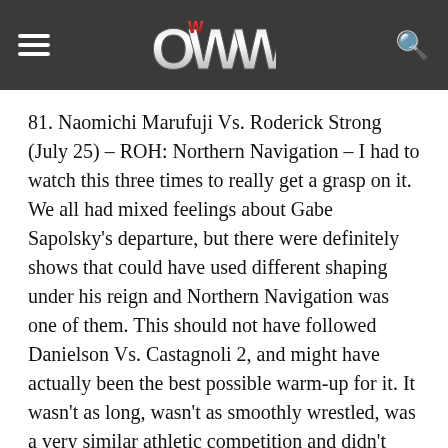OWW navigation header with hamburger menu and search icon
81. Naomichi Marufuji Vs. Roderick Strong (July 25) – ROH: Northern Navigation – I had to watch this three times to really get a grasp on it. We all had mixed feelings about Gabe Sapolsky's departure, but there were definitely shows that could have used different shaping under his reign and Northern Navigation was one of them. This should not have followed Danielson Vs. Castagnoli 2, and might have actually been the best possible warm-up for it. It wasn't as long, wasn't as smoothly wrestled, was a very similar athletic competition and didn't even try to build to the heights of the previous match, making what was a great match look bad just because of when it happened. Even the crowd was noticeably quieter than they had been for the half-hour chain-wrestling marathon right before this. When watched independent of the show it was on Marufuji worked holds like very few people in Japan or America can, Strong had great counters and a better sense of vulnerability (even humorous vulnerability a few times, like biting the ropes to